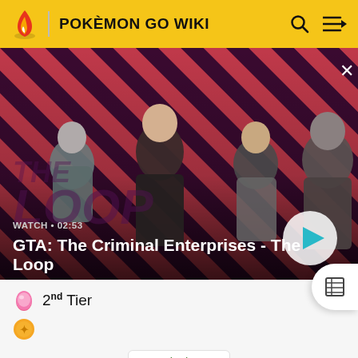POKÉMON GO WIKI
[Figure (screenshot): Video banner for GTA: The Criminal Enterprises - The Loop, showing four game characters on a red diagonal striped background with a play button]
WATCH • 02:53
GTA: The Criminal Enterprises - The Loop
2nd Tier